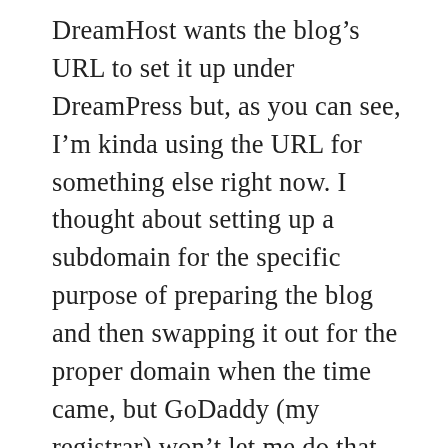DreamHost wants the blog's URL to set it up under DreamPress but, as you can see, I'm kinda using the URL for something else right now. I thought about setting up a subdomain for the specific purpose of preparing the blog and then swapping it out for the proper domain when the time came, but GoDaddy (my registrar) won't let me do that with a URL hosted elsewhere (and mine's at WordPress — you're soaking in it). WordPress doesn't seem to offer this service, either, so I am stymied. I could always use a different URL altogether, I suppose, until it's time to